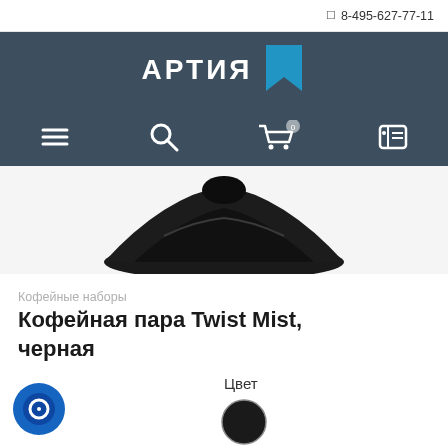📱 8-495-627-77-11
[Figure (logo): АРТИЯ logo with blue bookmark icon on dark teal/grey header bar]
[Figure (screenshot): Navigation bar with hamburger menu, search, cart (0), and user account icons on dark background]
[Figure (photo): Product photo showing bottom of a black coffee cup/saucer set (Twist Mist) against white background]
Кофейные наборы
Кофейная пара Twist Mist, черная
Цвет
[Figure (illustration): Black color circle swatch for product color selection]
[Figure (illustration): Blue and dark chat support bubble icon in lower left]